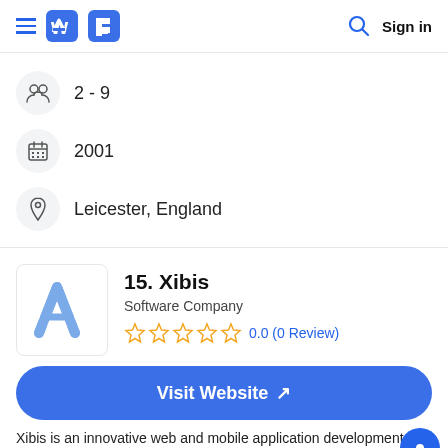Sign in
2 - 9
2001
Leicester, England
15. Xibis
Software Company
0.0 (0 Review)
Visit Website ↗
Xibis is an innovative web and mobile application development